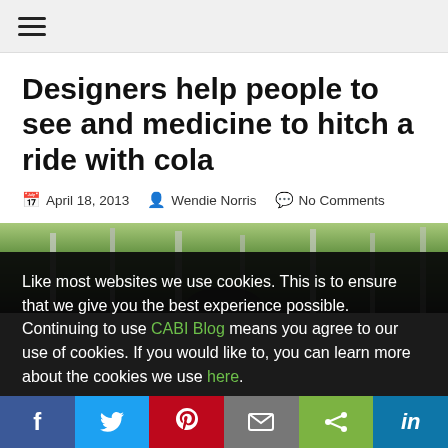☰
Designers help people to see and medicine to hitch a ride with cola
April 18, 2013  Wendie Norris  No Comments
[Figure (photo): Outdoor photo showing trees and foliage in a green landscape, partially visible]
Like most websites we use cookies. This is to ensure that we give you the best experience possible. Continuing to use CABI Blog means you agree to our use of cookies. If you would like to, you can learn more about the cookies we use here.
f  Twitter  Pinterest  Email  Share  in